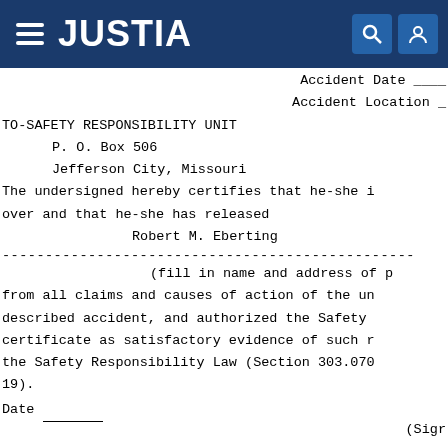JUSTIA
Accident Date ____
Accident Location _
TO-SAFETY RESPONSIBILITY UNIT
    P. O. Box 506
    Jefferson City, Missouri
The undersigned hereby certifies that he-she is over and that he-she has released
    Robert M. Eberting
----------------------------------------------------
(fill in name and address of p from all claims and causes of action of the un described accident, and authorized the Safety certificate as satisfactory evidence of such r the Safety Responsibility Law (Section 303.070 19).
Date ________
(Sigr